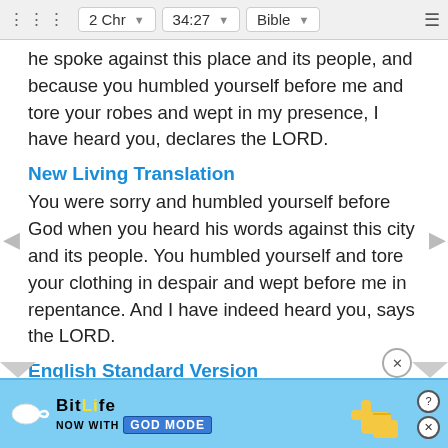2 Chr  34:27  Bible
he spoke against this place and its people, and because you humbled yourself before me and tore your robes and wept in my presence, I have heard you, declares the LORD.
New Living Translation
You were sorry and humbled yourself before God when you heard his words against this city and its people. You humbled yourself and tore your clothing in despair and wept before me in repentance. And I have indeed heard you, says the LORD.
English Standard Version
because your heart was tender and you humbled yourself before God when you heard his words against this place and its inhabitants, and you have humbled yourself and tore your clothing... you, decla...
[Figure (screenshot): BitLife advertisement banner with 'NOW WITH GOD MODE' text and animated hand graphic]